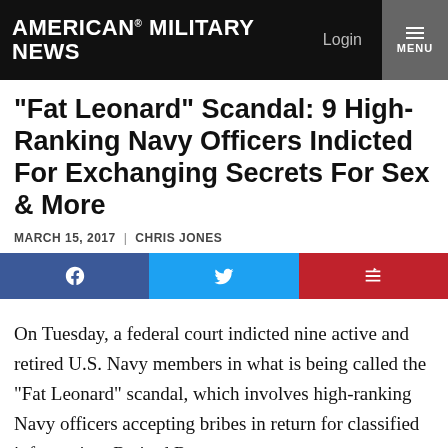AMERICAN MILITARY NEWS
“Fat Leonard” Scandal: 9 High-Ranking Navy Officers Indicted For Exchanging Secrets For Sex & More
MARCH 15, 2017  |  CHRIS JONES
[Figure (infographic): Social share buttons: Facebook (blue), Twitter (light blue), Flipboard (red)]
On Tuesday, a federal court indicted nine active and retired U.S. Navy members in what is being called the “Fat Leonard” scandal, which involves high-ranking Navy officers accepting bribes in return for classified information. Retired Rear